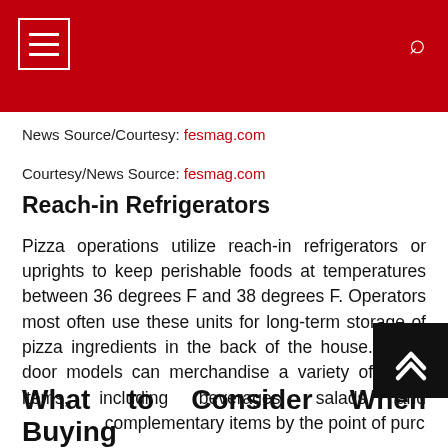News Source/Courtesy: fesmag.com
Courtesy/News Source: fesmag.com
Reach-in Refrigerators
Pizza operations utilize reach-in refrigerators or uprights to keep perishable foods at temperatures between 36 degrees F and 38 degrees F. Operators most often use these units for long-term storage of pizza ingredients in the back of the house. Glass door models can merchandise a variety of menu items, including beverages, salads and complementary items by the point of purc
What to Consider When Buying